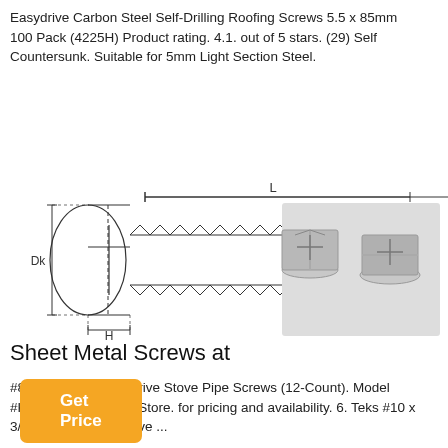Easydrive Carbon Steel Self-Drilling Roofing Screws 5.5 x 85mm 100 Pack (4225H) Product rating. 4.1. out of 5 stars. (29) Self Countersunk. Suitable for 5mm Light Section Steel.
[Figure (other): Orange 'Get Price' button]
[Figure (other): Blue 'Free Chat' widget on right edge]
[Figure (engineering-diagram): Technical engineering diagram of a self-drilling roofing screw showing side profile with dimension labels: L (length), Dk (head diameter), Dp (drill point diameter), H (head height). Alongside a photo of two actual screws viewed from different angles showing hex washer head with cross recess.]
Sheet Metal Screws at
#8 x 1/2-in Hex Pin-Drive Stove Pipe Screws (12-Count). Model #KK0170-B. Find My Store. for pricing and availability. 6. Teks #10 x 3/4-in Socket Hex-Drive ...
[Figure (other): Orange button at bottom (partially visible)]